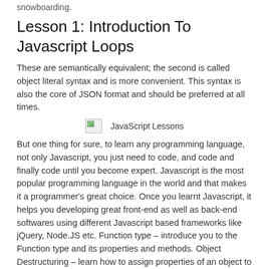snowboarding.
Lesson 1: Introduction To Javascript Loops
These are semantically equivalent; the second is called object literal syntax and is more convenient. This syntax is also the core of JSON format and should be preferred at all times.
[Figure (illustration): Broken image placeholder with label 'JavaScript Lessons']
But one thing for sure, to learn any programming language, not only Javascript, you just need to code, and code and finally code until you become expert. Javascript is the most popular programming language in the world and that makes it a programmer's great choice. Once you learnt Javascript, it helps you developing great front-end as well as back-end softwares using different Javascript based frameworks like jQuery, Node.JS etc. Function type – introduce you to the Function type and its properties and methods. Object Destructuring – learn how to assign properties of an object to variables. Factory functions – learn about the factory functions which are functions that return objects.
We could have added, removed, re-arranged, or updated the list's items. As we iterate through history array, step variable refers to